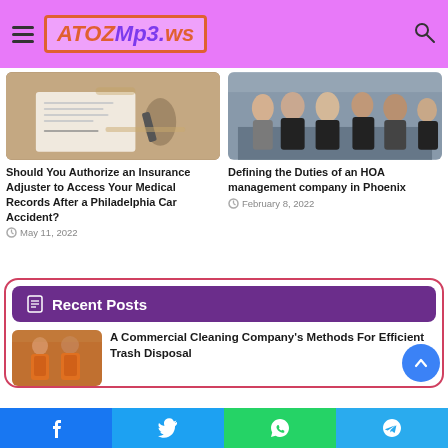ATOZMP3.WS
[Figure (photo): Person signing documents on a desk — insurance/legal paperwork scene]
Should You Authorize an Insurance Adjuster to Access Your Medical Records After a Philadelphia Car Accident?
May 11, 2022
[Figure (photo): Group of business professionals in formal attire standing together]
Defining the Duties of an HOA management company in Phoenix
February 8, 2022
Recent Posts
[Figure (photo): Two workers in orange suits / uniforms — commercial cleaning context]
A Commercial Cleaning Company's Methods For Efficient Trash Disposal